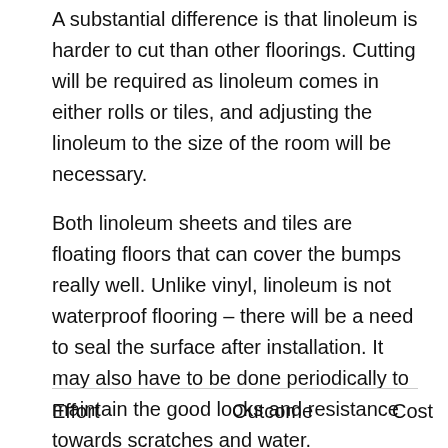A substantial difference is that linoleum is harder to cut than other floorings. Cutting will be required as linoleum comes in either rolls or tiles, and adjusting the linoleum to the size of the room will be necessary.
Both linoleum sheets and tiles are floating floors that can cover the bumps really well. Unlike vinyl, linoleum is not waterproof flooring – there will be a need to seal the surface after installation. It may also have to be done periodically to maintain the good looks and resistance towards scratches and water.
| Effort | Outcome | Cost |
| --- | --- | --- |